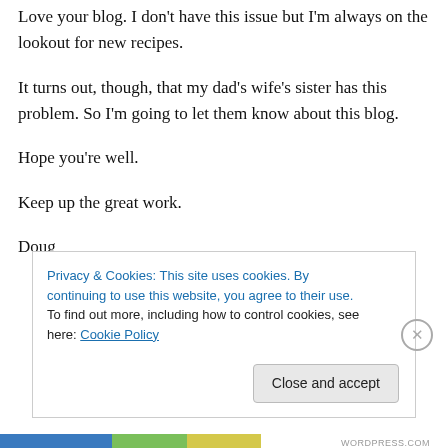Love your blog. I don't have this issue but I'm always on the lookout for new recipes.
It turns out, though, that my dad's wife's sister has this problem. So I'm going to let them know about this blog.
Hope you're well.
Keep up the great work.
Doug
Privacy & Cookies: This site uses cookies. By continuing to use this website, you agree to their use. To find out more, including how to control cookies, see here: Cookie Policy
Close and accept